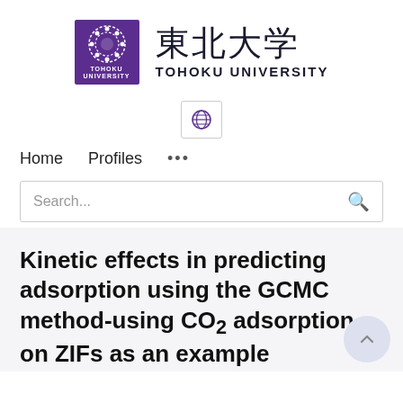[Figure (logo): Tohoku University logo: purple square with circular chain/pearl emblem and text TOHOKU UNIVERSITY, accompanied by Japanese kanji 東北大学 and romanized TOHOKU UNIVERSITY]
[Figure (logo): Globe/language selector icon in a bordered button]
Home    Profiles    ...
Search...
Kinetic effects in predicting adsorption using the GCMC method-using CO₂ adsorption on ZIFs as an example